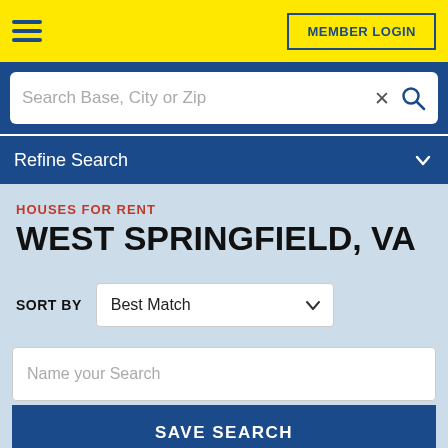MEMBER LOGIN
Search Base, City or Zip
Refine Search
HOUSES FOR RENT
WEST SPRINGFIELD, VA
SORT BY: Best Match
Name your Search
SAVE SEARCH